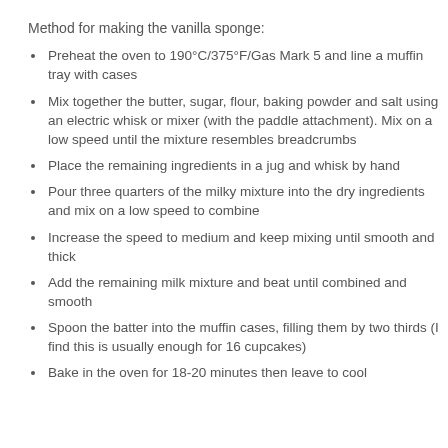Method for making the vanilla sponge:
Preheat the oven to 190°C/375°F/Gas Mark 5 and line a muffin tray with cases
Mix together the butter, sugar, flour, baking powder and salt using an electric whisk or mixer (with the paddle attachment). Mix on a low speed until the mixture resembles breadcrumbs
Place the remaining ingredients in a jug and whisk by hand
Pour three quarters of the milky mixture into the dry ingredients and mix on a low speed to combine
Increase the speed to medium and keep mixing until smooth and thick
Add the remaining milk mixture and beat until combined and smooth
Spoon the batter into the muffin cases, filling them by two thirds (I find this is usually enough for 16 cupcakes)
Bake in the oven for 18-20 minutes then leave to cool